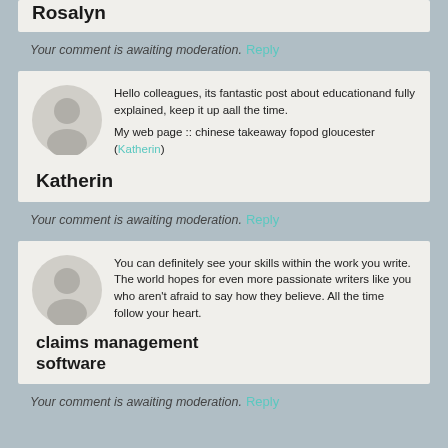Rosalyn
Your comment is awaiting moderation.
Reply
Hello colleagues, its fantastic post about educationand fully explained, keep it up aall the time.

My web page :: chinese takeaway fopod gloucester (Katherin)
Katherin
Your comment is awaiting moderation.
Reply
You can definitely see your skills within the work you write.
The world hopes for even more passionate writers like you
who aren't afraid to say how they believe. All the time follow your heart.
claims management software
Your comment is awaiting moderation.
Reply